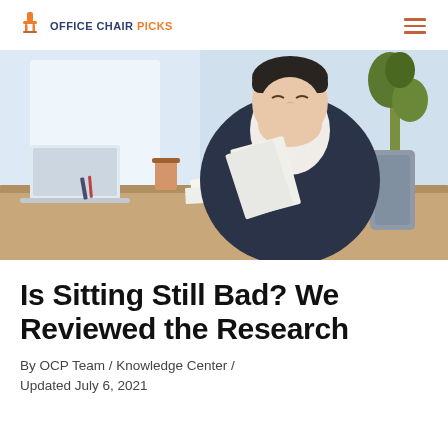OFFICE CHAIR PICKS
[Figure (photo): A heavyset man in a dark suit jacket sitting at a desk, yawning or covering his mouth, holding papers, with a laptop, coffee cup, and plant visible in the background. Office setting with bright light.]
Is Sitting Still Bad? We Reviewed the Research
By OCP Team / Knowledge Center / Updated July 6, 2021